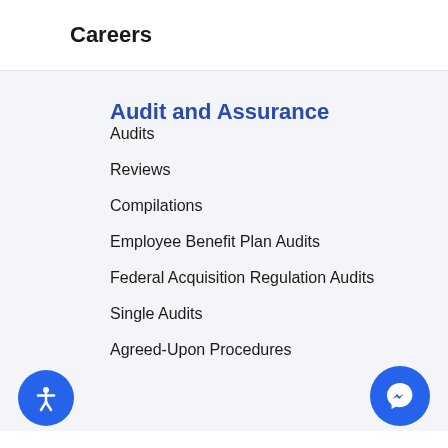Careers
Audit and Assurance
Audits
Reviews
Compilations
Employee Benefit Plan Audits
Federal Acquisition Regulation Audits
Single Audits
Agreed-Upon Procedures